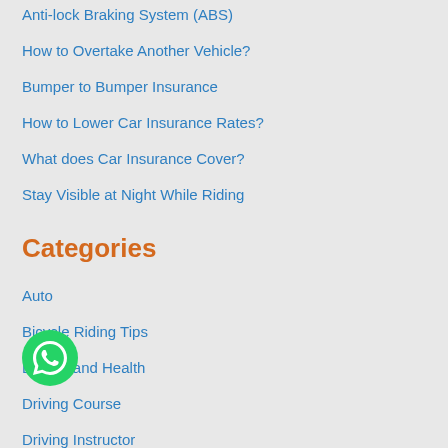Anti-lock Braking System (ABS)
How to Overtake Another Vehicle?
Bumper to Bumper Insurance
How to Lower Car Insurance Rates?
What does Car Insurance Cover?
Stay Visible at Night While Riding
Categories
Auto
Bicycle Riding Tips
Driving and Health
Driving Course
Driving Instructor
Driving Licence